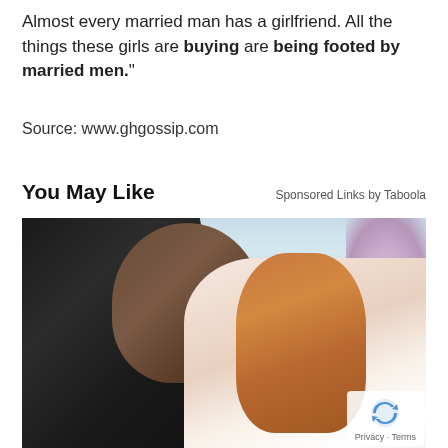Almost every married man has a girlfriend. All the things these girls are buying are being footed by married men."
Source: www.ghgossip.com
You May Like
Sponsored Links by Taboola
[Figure (photo): Photo of two people in period costume — a man in a dark jacket and a woman in a light dress with auburn hair, set against a garden background with purple flowers and greenery, resembling a promotional image for the TV show Bridgerton. A reCAPTCHA logo with Privacy and Terms text appears in the bottom right corner.]